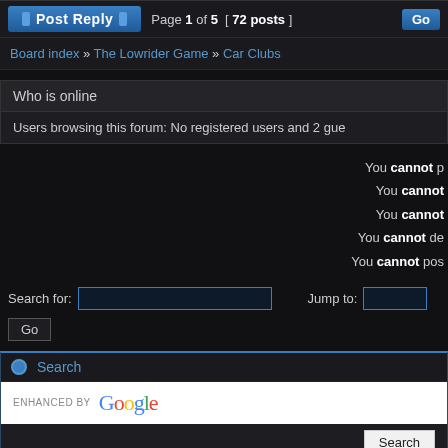Post Reply  Page 1 of 5  [ 72 posts ]  Go
Board index » The Lowrider Game » Car Clubs
Who is online
Users browsing this forum: No registered users and 2 gue
You cannot p
You cannot
You cannot
You cannot de
You cannot pos
Search for:  [input]  Jump to: [input]
Go
[Figure (screenshot): Google search widget with 'ENHANCED BY Google' logo and Search button]
http://www.cashcrate.com/610
Game & Site Designed by Drui  Forum Powered by phpBB © phpBB  Forum Template Designed by Vjacheslav Trushkin for F